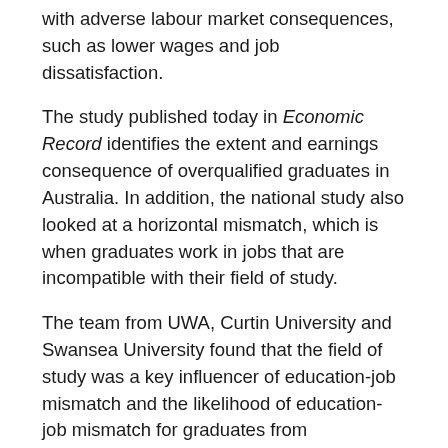with adverse labour market consequences, such as lower wages and job dissatisfaction.
The study published today in Economic Record identifies the extent and earnings consequence of overqualified graduates in Australia. In addition, the national study also looked at a horizontal mismatch, which is when graduates work in jobs that are incompatible with their field of study.
The team from UWA, Curtin University and Swansea University found that the field of study was a key influencer of education-job mismatch and the likelihood of education-job mismatch for graduates from occupation-specific fields such as education, allied health and nursing was much lower than for their peers in broader fields of study, including natural and physical sciences, human studies, society and culture, and creative arts.